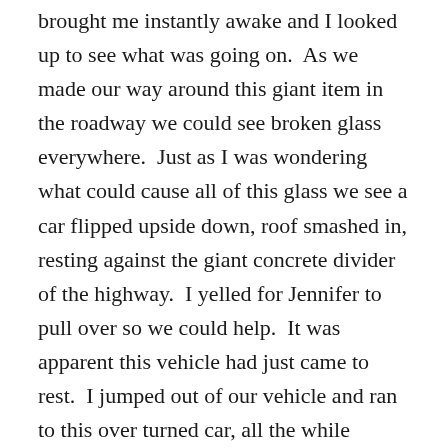brought me instantly awake and I looked up to see what was going on.  As we made our way around this giant item in the roadway we could see broken glass everywhere.  Just as I was wondering what could cause all of this glass we see a car flipped upside down, roof smashed in, resting against the giant concrete divider of the highway.  I yelled for Jennifer to pull over so we could help.  It was apparent this vehicle had just came to rest.  I jumped out of our vehicle and ran to this over turned car, all the while vehicles were screeching to a halt around us.  The passenger door was facing me and the driver's door was against the concrete barrier.  I began pulling on the crushed door and managed to open it enough to crawl inside the vehicle with the trapped occupants.  I found a husband and wife lying upside down covered in glass and debris.  I managed to get the husband free from his seat belt, but the wife could not